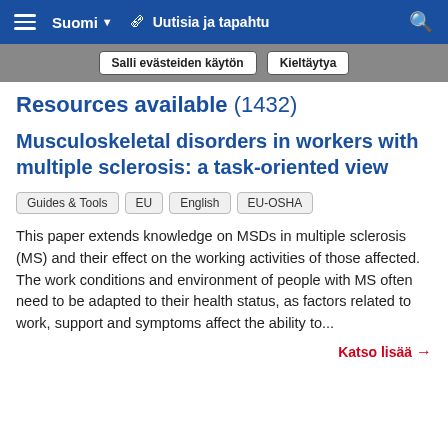≡  Suomi  ▼  🗞 Uutisia ja tapahtu 🔍
Salli evästeiden käytön   Kieltäytya
Resources available (1432)
Musculoskeletal disorders in workers with multiple sclerosis: a task-oriented view
Guides & Tools
EU
English
EU-OSHA
This paper extends knowledge on MSDs in multiple sclerosis (MS) and their effect on the working activities of those affected. The work conditions and environment of people with MS often need to be adapted to their health status, as factors related to work, support and symptoms affect the ability to...
Katso lisää →